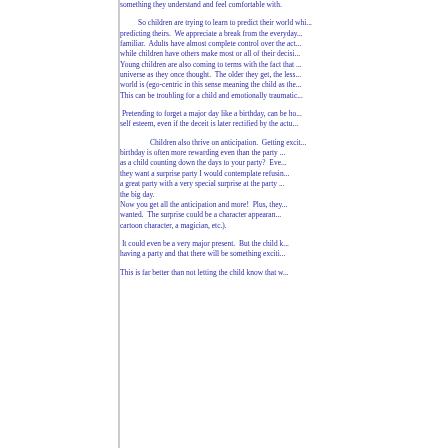something they understand and feel comfortable with.
So children are trying to learn to predict their world whi... predicting theirs. We appreciate a break from the everyday... familiar. Adults have almost complete control over the act... while children have others make most or all of their decisi... Young children are also coming to terms with the fact that ... universe as they once thought. The older they get, the less... world is (ego-centric in this sense meaning the child as the... This can be troubling for a child and emotionally traumatic...
Pretending to forget a major day like a birthday, can be ho... self esteem, even if the deceit is later rectified by the actu...
Children also thrive on anticipation. Getting excit... birthday is often more rewarding even than the party ... as a child counting down the days to your party? Eve... they want a surprise party I would contemplate refusin... a great party with a very special surprise at the party ... the big day. Now you get all the anticipation and more! Plus, they... wanted. The surprise could be a character appearan... cartoon character, a magician, etc.).
It could even be a very major present. But the child k... having a party and that there will be something exciti...
This is far better than not letting the child know that w...